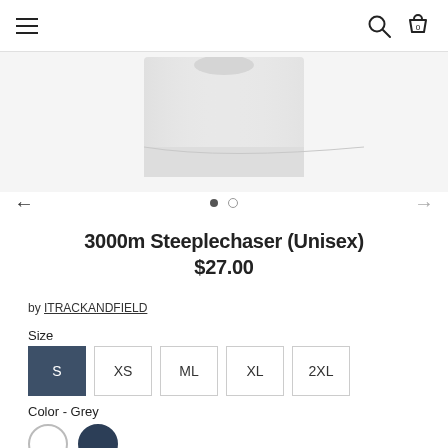Navigation bar with hamburger menu, search icon, and cart icon (0 items)
[Figure (photo): Cropped product photo showing a light grey t-shirt/garment against white background]
← • ○ →
3000m Steeplechaser (Unisex)
$27.00
by ITRACKANDFIELD
Size
S  XS  ML  XL  2XL
Color - Grey